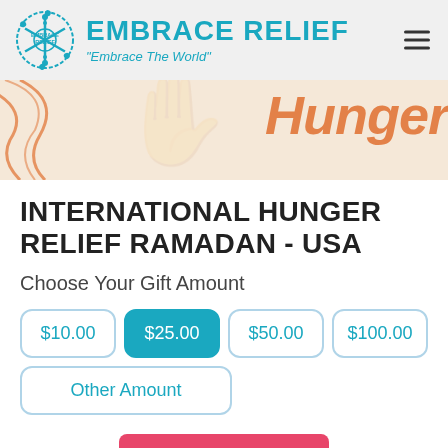[Figure (logo): Embrace Relief logo: hexagonal snowflake/people icon in teal with 'EMBRACE RELIEF' text and tagline]
INTERNATIONAL HUNGER RELIEF RAMADAN - USA
Choose Your Gift Amount
$10.00
$25.00
$50.00
$100.00
Other Amount